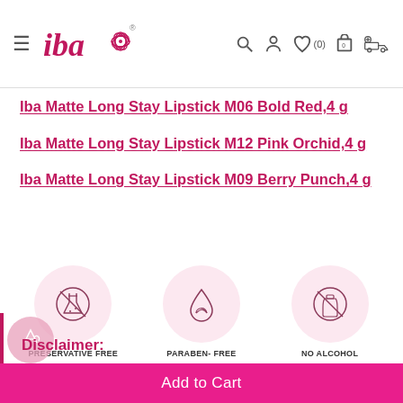iba (logo) — navigation header with hamburger menu, search, account, wishlist (0), cart (0), and delivery icons
Iba Matte Long Stay Lipstick M06 Bold Red,4 g
Iba Matte Long Stay Lipstick M12 Pink Orchid,4 g
Iba Matte Long Stay Lipstick M09 Berry Punch,4 g
[Figure (infographic): Three circular pink badges showing product attributes: PRESERVATIVE FREE (beaker with crossed circle), PARABEN- FREE (water drop with leaf), NO ALCOHOL (bottle with crossed circle)]
Disclaimer:
Add to Cart